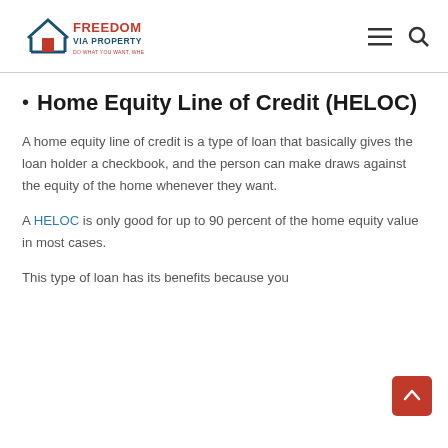Freedom Via Property — navigation header with logo, menu icon, and search icon
Home Equity Line of Credit (HELOC)
A home equity line of credit is a type of loan that basically gives the loan holder a checkbook, and the person can make draws against the equity of the home whenever they want.
A HELOC is only good for up to 90 percent of the home equity value in most cases.
This type of loan has its benefits because you